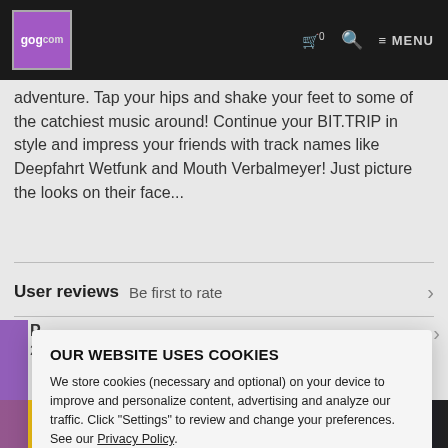GOG.COM | cart 0 | search | MENU
adventure. Tap your hips and shake your feet to some of the catchiest music around! Continue your BIT.TRIP in style and impress your friends with track names like Deepfahrt Wetfunk and Mouth Verbalmeyer! Just picture the looks on their face...
User reviews  Be first to rate
[Figure (screenshot): Cookie consent popup overlay on GOG.com. Contains title 'OUR WEBSITE USES COOKIES', body text about cookies, Settings button, and Accept all cookies button (green).]